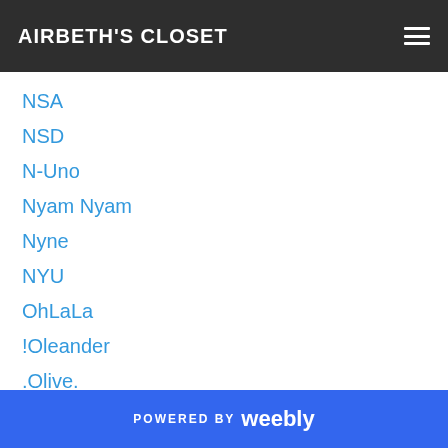AIRBETH'S CLOSET
NSA
NSD
N-Uno
Nyam Nyam
Nyne
NYU
OhLaLa
!Oleander
.Olive.
Omega
O.M.E.N
On9
One Moon
Onyx
OOo
POWERED BY weebly